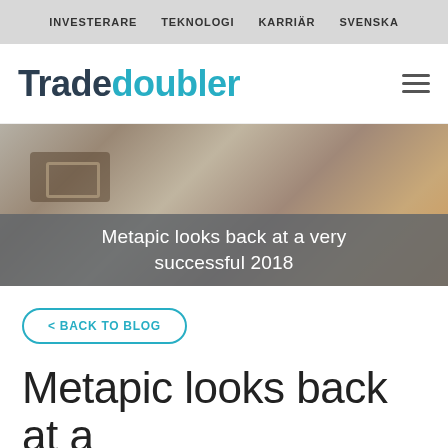INVESTERARE  TEKNOLOGI  KARRIÄR  SVENSKA
[Figure (logo): Tradedoubler logo with Trade in dark and doubler in teal/blue color, with hamburger menu icon on right]
[Figure (photo): Hero image showing clothing items (jeans, belt) on a surface, with a semi-transparent gray overlay containing the article title text]
Metapic looks back at a very successful 2018
< BACK TO BLOG
Metapic looks back at a